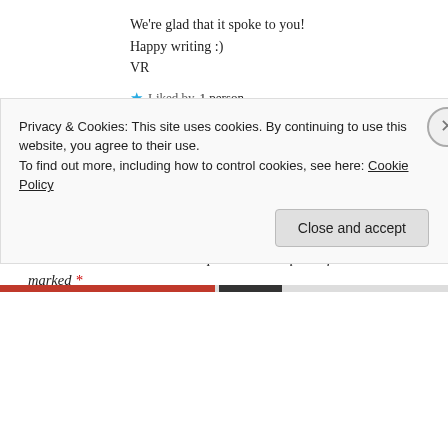We're glad that it spoke to you!
Happy writing :)
VR
Liked by 1 person
Reply
Leave a Reply
Your email address will not be published. Required fields are marked *
Privacy & Cookies: This site uses cookies. By continuing to use this website, you agree to their use.
To find out more, including how to control cookies, see here: Cookie Policy
Close and accept